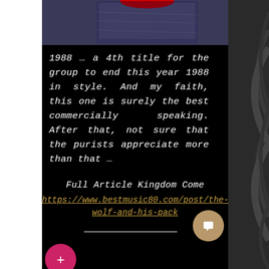[Figure (photo): Top portion of an album cover image, appears to be a dark bluish-grey textured cover, partially visible]
1988 … a 4th title for the group to end this year 1988 in style. And my faith, this one is surely the best commercially speaking. After that, not sure that the purists appreciate more than that …
Full Article Kingdom Come
https://www.bestmusic80.com/post/the-wolf-and-his-pack